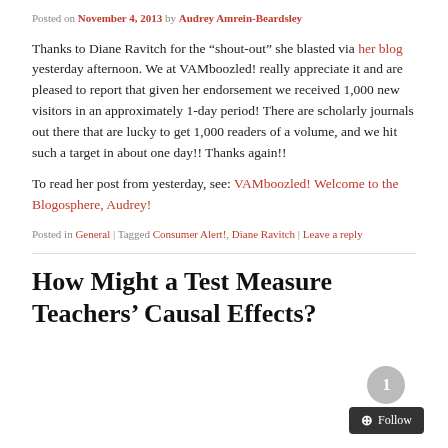Posted on November 4, 2013 by Audrey Amrein-Beardsley
Thanks to Diane Ravitch for the “shout-out” she blasted via her blog yesterday afternoon. We at VAMboozled! really appreciate it and are pleased to report that given her endorsement we received 1,000 new visitors in an approximately 1-day period! There are scholarly journals out there that are lucky to get 1,000 readers of a volume, and we hit such a target in about one day!! Thanks again!!
To read her post from yesterday, see: VAMboozled! Welcome to the Blogosphere, Audrey!
Posted in General | Tagged Consumer Alert!, Diane Ravitch | Leave a reply
How Might a Test Measure Teachers’ Causal Effects?